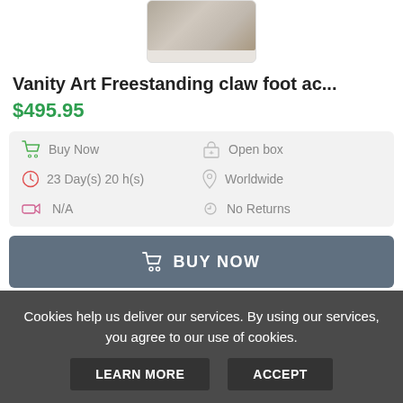[Figure (photo): Partial product photo showing what appears to be a bathtub or furniture item at the top of the page]
Vanity Art Freestanding claw foot ac...
$495.95
Buy Now | 23 Day(s) 20 h(s) | N/A | Open box | Worldwide | No Returns
BUY NOW
[Figure (photo): Product photo showing a faucet/sink area with curtains in the background]
Cookies help us deliver our services. By using our services, you agree to our use of cookies.
LEARN MORE  ACCEPT